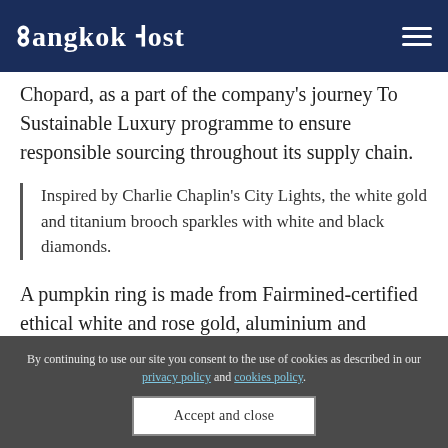Bangkok Post
Chopard, as a part of the company's journey To Sustainable Luxury programme to ensure responsible sourcing throughout its supply chain.
Inspired by Charlie Chaplin's City Lights, the white gold and titanium brooch sparkles with white and black diamonds.
A pumpkin ring is made from Fairmined-certified ethical white and rose gold, aluminium and
By continuing to use our site you consent to the use of cookies as described in our privacy policy and cookies policy.
Accept and close